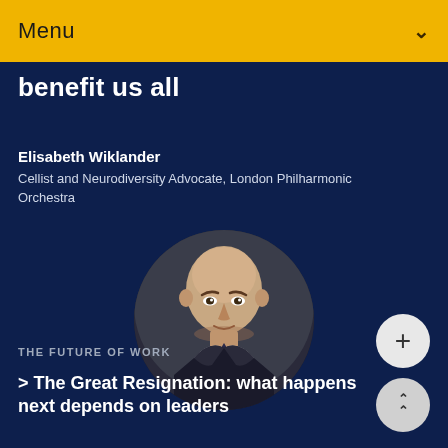Menu
benefit us all
Elisabeth Wiklander
Cellist and Neurodiversity Advocate, London Philharmonic Orchestra
[Figure (photo): Circular portrait photo of a bald man in a dark suit and tie, against a dark background]
THE FUTURE OF WORK
> The Great Resignation: what happens next depends on leaders